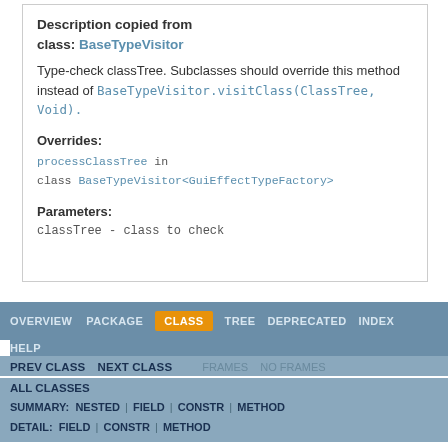Description copied from class: BaseTypeVisitor
Type-check classTree. Subclasses should override this method instead of BaseTypeVisitor.visitClass(ClassTree, Void).
Overrides:
processClassTree in class BaseTypeVisitor<GuiEffectTypeFactory>
Parameters:
classTree - class to check
OVERVIEW  PACKAGE  CLASS  TREE  DEPRECATED  INDEX  HELP  PREV CLASS  NEXT CLASS  FRAMES  NO FRAMES  ALL CLASSES  SUMMARY: NESTED | FIELD | CONSTR | METHOD  DETAIL: FIELD | CONSTR | METHOD